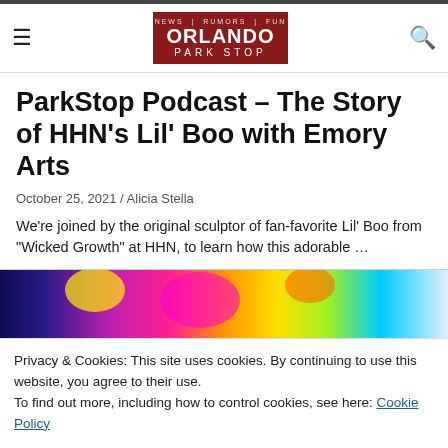Orlando Park Stop logo navigation header
ParkStop Podcast – The Story of HHN's Lil' Boo with Emory Arts
October 25, 2021 / Alicia Stella
We're joined by the original sculptor of fan-favorite Lil' Boo from "Wicked Growth" at HHN, to learn how this adorable …
[Figure (photo): Colorful abstract image with bright pink, yellow, green, and blue paint splashes]
Privacy & Cookies: This site uses cookies. By continuing to use this website, you agree to their use.
To find out more, including how to control cookies, see here: Cookie Policy
Close and accept
[Figure (photo): Colorful themed park imagery at bottom of page]